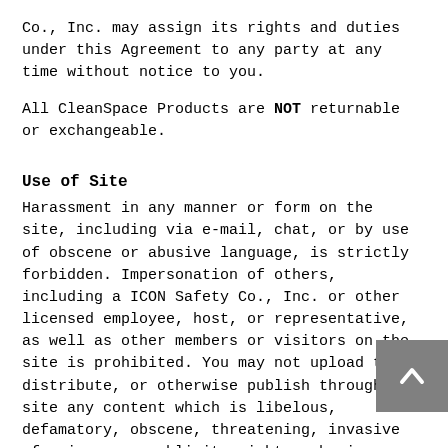Co., Inc. may assign its rights and duties under this Agreement to any party at any time without notice to you.
All CleanSpace Products are NOT returnable or exchangeable.
Use of Site
Harassment in any manner or form on the site, including via e-mail, chat, or by use of obscene or abusive language, is strictly forbidden. Impersonation of others, including a ICON Safety Co., Inc. or other licensed employee, host, or representative, as well as other members or visitors on the site is prohibited. You may not upload to, distribute, or otherwise publish through the site any content which is libelous, defamatory, obscene, threatening, invasive of privacy or publicity rights, abusive, illegal, or otherwise objectionable which may constitute or encourage a criminal offense, violate the